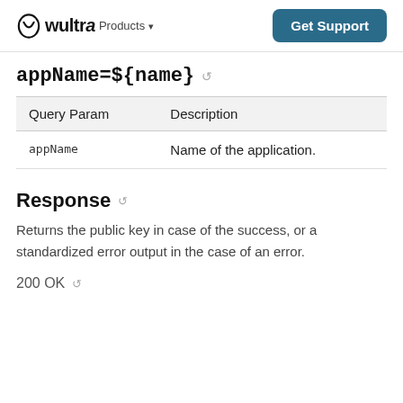wultra Products ▾  Get Support
appName=${name}
| Query Param | Description |
| --- | --- |
| appName | Name of the application. |
Response
Returns the public key in case of the success, or a standardized error output in the case of an error.
200 OK